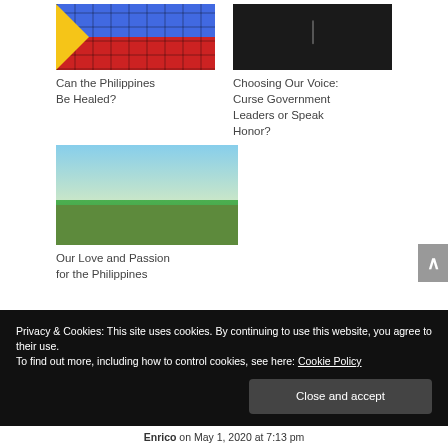[Figure (photo): Philippine flag painted on brick wall - blue and red with yellow triangle]
Can the Philippines Be Healed?
[Figure (photo): Dark background with a microphone silhouette]
Choosing Our Voice: Curse Government Leaders or Speak Honor?
[Figure (photo): Green field with mountains and sky with clouds]
Our Love and Passion for the Philippines
Privacy & Cookies: This site uses cookies. By continuing to use this website, you agree to their use.
To find out more, including how to control cookies, see here: Cookie Policy
Close and accept
Enrico on May 1, 2020 at 7:13 pm